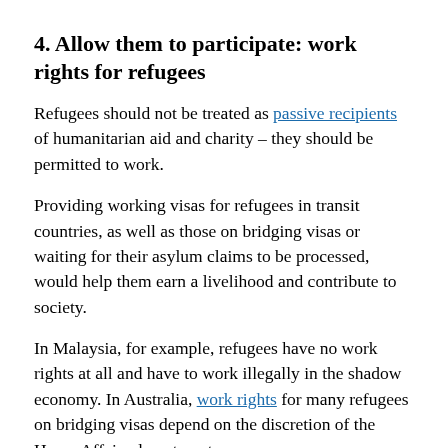4. Allow them to participate: work rights for refugees
Refugees should not be treated as passive recipients of humanitarian aid and charity – they should be permitted to work.
Providing working visas for refugees in transit countries, as well as those on bridging visas or waiting for their asylum claims to be processed, would help them earn a livelihood and contribute to society.
In Malaysia, for example, refugees have no work rights at all and have to work illegally in the shadow economy. In Australia, work rights for many refugees on bridging visas depend on the discretion of the Home Affairs department.